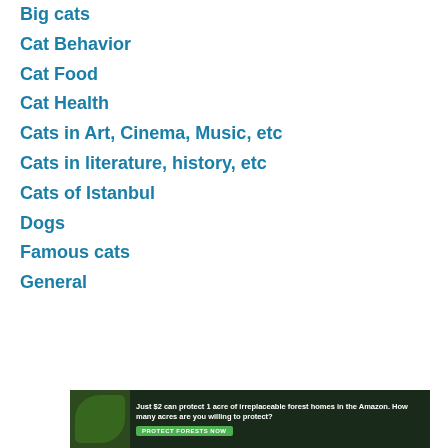Big cats
Cat Behavior
Cat Food
Cat Health
Cats in Art, Cinema, Music, etc
Cats in literature, history, etc
Cats of Istanbul
Dogs
Famous cats
General
[Figure (photo): Advertisement banner: 'Just $2 can protect 1 acre of irreplaceable forest homes in the Amazon. How many acres are you willing to protect?' with a green Protect Forests Now button and a forest/leaf background image.]